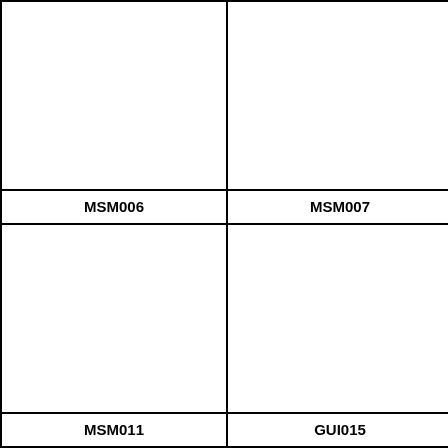| MSM006 | MSM007 |
| --- | --- |
|  |  |
|  |  |
| MSM011 | GUI015 |